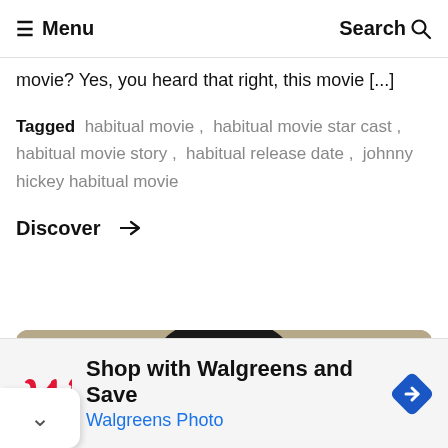≡ Menu    Search 🔍
movie? Yes, you heard that right, this movie [...]
Tagged habitual movie , habitual movie star cast , habitual movie story , habitual release date , johnny hickey habitual movie
Discover →
[Figure (photo): Man with dark curly hair and mustache wearing a blue surgical mask on his forehead, raising both hands, against a tan/khaki background]
[Figure (infographic): Walgreens advertisement: Shop with Walgreens and Save, Walgreens Photo, with Walgreens cursive W logo in red and a blue diamond navigation icon]